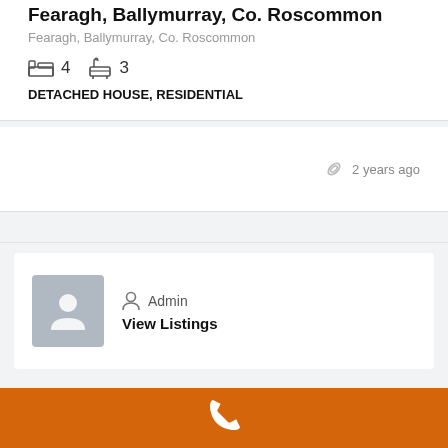Fearagh, Ballymurray, Co. Roscommon
Fearagh, Ballymurray, Co. Roscommon
4 bedrooms, 3 bathrooms
DETACHED HOUSE, RESIDENTIAL
2 years ago
Admin
View Listings